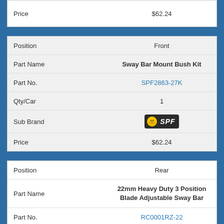|  |  |
| --- | --- |
| Price | $62.24 |
|  |  |
| --- | --- |
| Position | Front |
| Part Name | Sway Bar Mount Bush Kit |
| Part No. | SPF2863-27K |
| Qty/Car | 1 |
| Sub Brand | [SPF logo] |
| Price | $62.24 |
|  |  |
| --- | --- |
| Position | Rear |
| Part Name | 22mm Heavy Duty 3 Position Blade Adjustable Sway Bar |
| Part No. | RC0001RZ-22 |